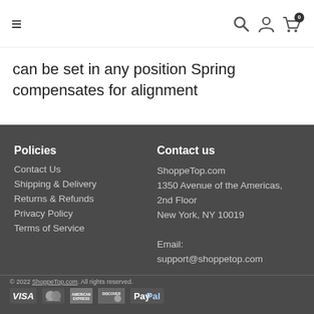≡  [search] [user] [cart 0]
can be set in any position Spring compensates for alignment
Policies
Contact Us
Shipping & Delivery
Returns & Refunds
Privacy Policy
Terms of Service
Contact us
ShoppeTop.com
1350 Avenue of the Americas, 2nd Floor
New York, NY 10019

Email:
support@shoppetop.com
© 2022 ShoppeTop.com. All rights reserved. [VISA] [Mastercard] [Amex] [Discover] [PayPal]